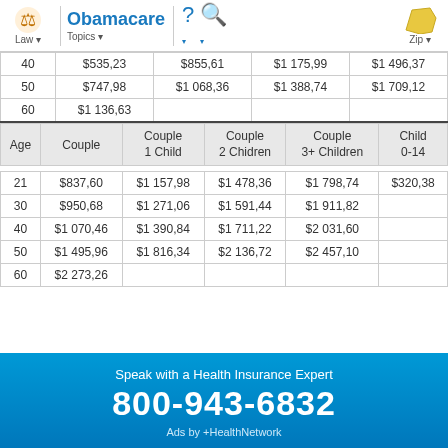Obamacare | Law | Topics | Zip
| Age | Couple | Couple 1 Child | Couple 2 Children | Couple 3+ Children |
| --- | --- | --- | --- | --- |
| 40 | $535,23 | $855,61 | $1 175,99 | $1 496,37 |
| 50 | $747,98 | $1 068,36 | $1 388,74 | $1 709,12 |
| 60 | $1 136,63 |  |  |  |
| Age | Couple | Couple 1 Child | Couple 2 Chidren | Couple 3+ Children | Child 0-14 |
| --- | --- | --- | --- | --- | --- |
| 21 | $837,60 | $1 157,98 | $1 478,36 | $1 798,74 | $320,38 |
| 30 | $950,68 | $1 271,06 | $1 591,44 | $1 911,82 |  |
| 40 | $1 070,46 | $1 390,84 | $1 711,22 | $2 031,60 |  |
| 50 | $1 495,96 | $1 816,34 | $2 136,72 | $2 457,10 |  |
| 60 | $2 273,26 |  |  |  |  |
Speak with a Health Insurance Expert
800-943-6832
Ads by +HealthNetwork